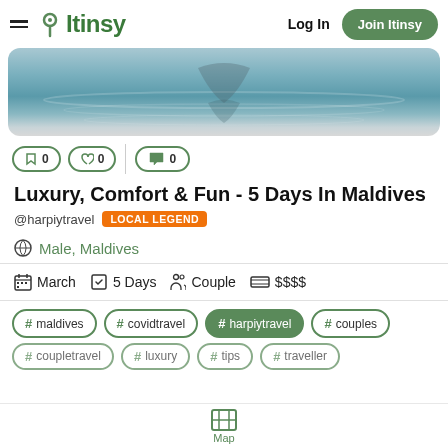Itinsy — Log In | Join Itinsy
[Figure (photo): Hero image showing water surface with reflections, teal and grey tones]
0  0  0
Luxury, Comfort & Fun - 5 Days In Maldives
@harpiytravel  LOCAL LEGEND
Male, Maldives
March  5 Days  Couple  $$$$
#maldives
#covidtravel
#harpiytravel
#couples
Map